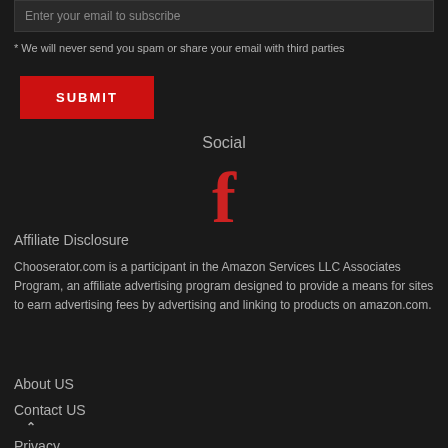Enter your email to subscribe
* We will never send you spam or share your email with third parties
SUBMIT
Social
[Figure (illustration): Facebook icon in red]
Affiliate Disclosure
Chooserator.com is a participant in the Amazon Services LLC Associates Program, an affiliate advertising program designed to provide a means for sites to earn advertising fees by advertising and linking to products on amazon.com.
About US
Contact US
Privacy